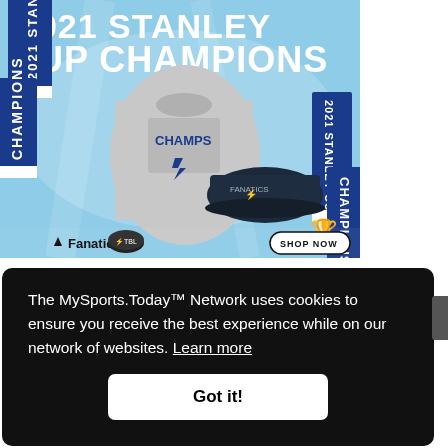[Figure (photo): Fanatics advertisement for 2021 Stanley Cup Champions merchandise featuring a t-shirt and cap with 'CHAMPS' logo, banners reading '2021 STANLEY CUP CHAMPIONS', Fanatics logo bottom left, and a 'SHOP NOW' button bottom right.]
The MySports.Today™ Network uses cookies to ensure you receive the best experience while on our network of websites. Learn more
Got it!